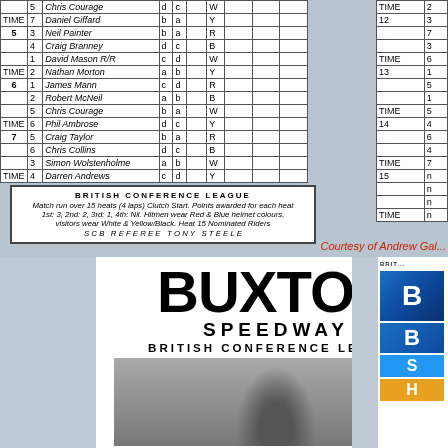|  | Gate | Name | Helmet |  | Result |
| --- | --- | --- | --- | --- | --- |
|  | 5 | Chris Courage | d | c | W |
| TIME | 7 | Daniel Giffard | b | a | Y |
| 5 | 3 | Neil Painter | b | a | R |
|  | 4 | Craig Branney | d | c | B |
|  | 1 | David Mason  R/R | c | d | W |
| TIME | 2 | Nathan Morton | a | b | Y |
| 6 | 1 | James Mann | c | d | R |
|  | 2 | Robert McNeil | a | b | B |
|  | 5 | Chris Courage | b | a | W |
| TIME | 6 | Phil Ambrose | d | c | Y |
| 7 | 5 | Craig Taylor | b | a | R |
|  | 6 | Chris Collins | d | c | B |
|  | 3 | Simon Wolstenholme | a | b | W |
| TIME | 4 | Darren Andrews | c | d | Y |
|  |  |
| --- | --- |
| TIME | 2 |
| 12 | 3 |
|  | 7 |
|  | 3 |
| TIME | 6 |
| 13 | 1 |
|  | 5 |
|  | 1 |
| TIME | 5 |
| 14 | 4 |
|  | 6 |
|  | 4 |
| TIME | 7 |
| 15 | n |
|  | n |
|  | n |
| TIME | n |
BRITISH CONFERENCE LEAGUE
Match run over 15 heats (4 laps) Clutch Start. Points awarded for each heat
1st: 3, 2nd: 2, 3rd: 1, 4th: Nil. Hitmen wear Red & Blue helmet colours,
visitors wear White & Yellow/Black. Heat 15 Nominated Riders
S C B  R E F E R E E  T O N Y  S T E E L E
Courtesy of Andrew Gal...
BUXTON
SPEEDWAY
BRITISH CONFERENCE LEAGUE
[Figure (photo): Speedway rider on motorcycle, racing action photo]